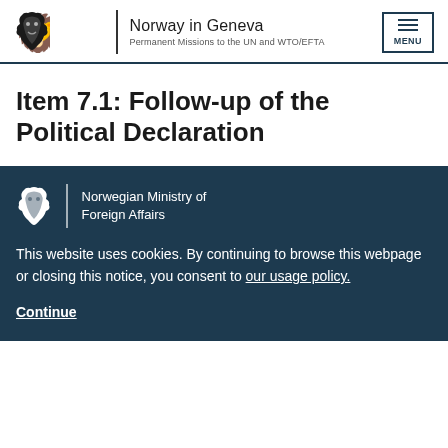Norway in Geneva — Permanent Missions to the UN and WTO/EFTA
Item 7.1: Follow-up of the Political Declaration
[Figure (logo): Norwegian Ministry of Foreign Affairs logo with lion crest]
This website uses cookies. By continuing to browse this webpage or closing this notice, you consent to our usage policy.
Continue